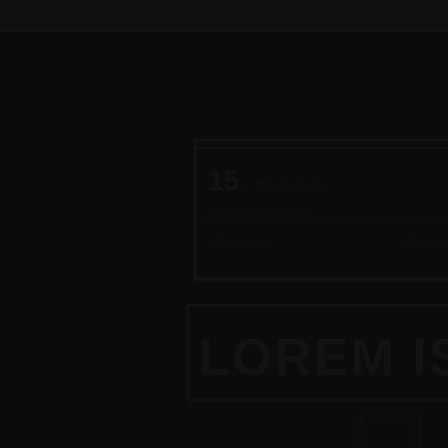[Figure (other): Extremely dark page with faint ghosted text and logo elements. The image appears almost entirely black with very subtle dark-on-dark text and graphic elements barely visible, including what appears to be a logo or emblem in the center-upper area and some text elements that are nearly indistinguishable from the background.]